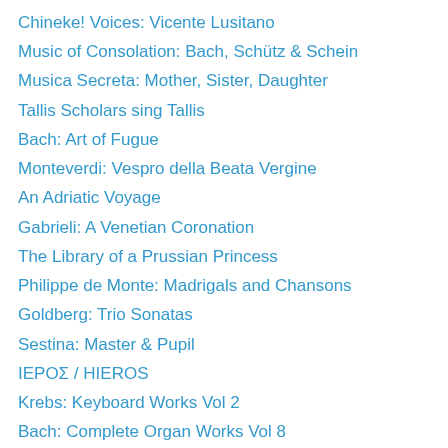Chineke! Voices: Vicente Lusitano
Music of Consolation: Bach, Schütz & Schein
Musica Secreta: Mother, Sister, Daughter
Tallis Scholars sing Tallis
Bach: Art of Fugue
Monteverdi: Vespro della Beata Vergine
An Adriatic Voyage
Gabrieli: A Venetian Coronation
The Library of a Prussian Princess
Philippe de Monte: Madrigals and Chansons
Goldberg: Trio Sonatas
Sestina: Master & Pupil
ΙΕΡΟΣ / HIEROS
Krebs: Keyboard Works Vol 2
Bach: Complete Organ Works Vol 8
Titelouze: Hymnes de l'église & Le Magnificat
Vox Luminis: Schütz & Bach
Sansara & Fretwork: Pärt & White
Fair Oriana: Divine Songs of Passion
Couperin: Lecons de Ténèbres